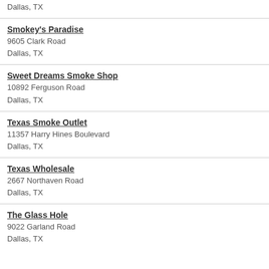Dallas, TX
Smokey's Paradise
9605 Clark Road
Dallas, TX
Sweet Dreams Smoke Shop
10892 Ferguson Road
Dallas, TX
Texas Smoke Outlet
11357 Harry Hines Boulevard
Dallas, TX
Texas Wholesale
2667 Northaven Road
Dallas, TX
The Glass Hole
9022 Garland Road
Dallas, TX